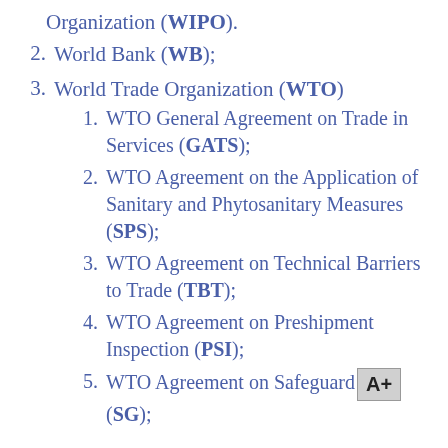Organization (WIPO).
2. World Bank (WB);
3. World Trade Organization (WTO)
1. WTO General Agreement on Trade in Services (GATS);
2. WTO Agreement on the Application of Sanitary and Phytosanitary Measures (SPS);
3. WTO Agreement on Technical Barriers to Trade (TBT);
4. WTO Agreement on Preshipment Inspection (PSI);
5. WTO Agreement on Safeguards (SG);